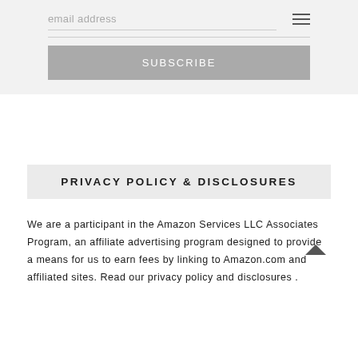email address
SUBSCRIBE
PRIVACY POLICY & DISCLOSURES
We are a participant in the Amazon Services LLC Associates Program, an affiliate advertising program designed to provide a means for us to earn fees by linking to Amazon.com and affiliated sites. Read our privacy policy and disclosures .